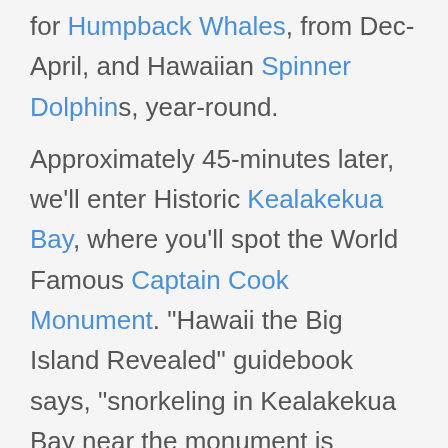for Humpback Whales, from Dec-April, and Hawaiian Spinner Dolphins, year-round.
Approximately 45-minutes later, we'll enter Historic Kealakekua Bay, where you'll spot the World Famous Captain Cook Monument. "Hawaii the Big Island Revealed" guidebook says, "snorkeling in Kealakekua Bay near the monument is perhaps the best you will find anywhere in the state." Bring an underwater camera to capture the colorful schools of fish and sea life swimming through the vibrant reef and ancient lava flows.
Enjoy the view over lunch as we exit the bay and